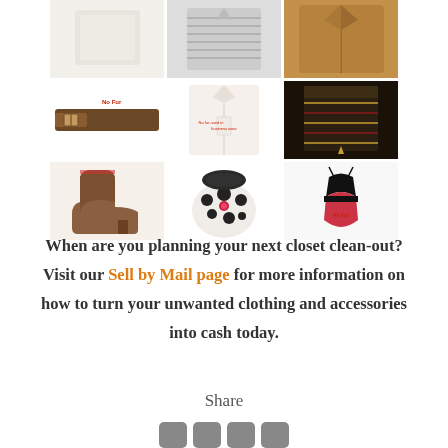[Figure (photo): Grid of clothing and accessories product photos arranged in 3 columns and 3 rows (partial): top row shows white fabric, striped shirt, brown jacket; middle row shows brown belt with 'No Fur' label, white dress shirt, patterned skirt; bottom row shows brown ankle boots, polka dot top with fur collar, black and red swimsuit.]
When are you planning your next closet clean-out? Visit our Sell by Mail page for more information on how to turn your unwanted clothing and accessories into cash today.
Share